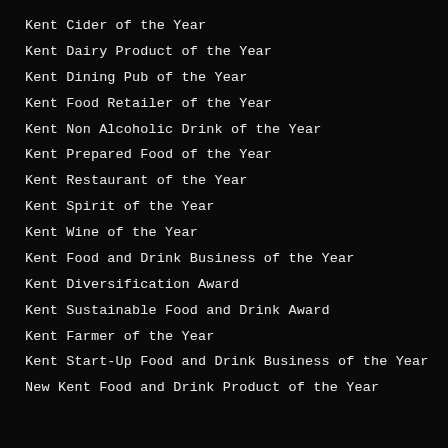Kent Cider of the Year
Kent Dairy Product of the Year
Kent Dining Pub of the Year
Kent Food Retailer of the Year
Kent Non Alcoholic Drink of the Year
Kent Prepared Food of the Year
Kent Restaurant of the Year
Kent Spirit of the Year
Kent Wine of the Year
Kent Food and Drink Business of the Year
Kent Diversification Award
Kent Sustainable Food and Drink Award
Kent Farmer of the Year
Kent Start-Up Food and Drink Business of the Year
New Kent Food and Drink Product of the Year